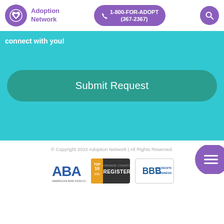[Figure (logo): Adoption Network logo: purple circle with heart icon and text 'Adoption Network']
[Figure (screenshot): Purple pill-shaped phone button: 1-800-FOR-ADOPT (367-2367)]
[Figure (screenshot): Purple circle with magnifying glass search icon]
connect with you!
[Figure (screenshot): Purple blob with hamburger menu icon (three horizontal lines)]
[Figure (screenshot): Teal rounded rectangle button labeled 'Submit Request']
© Copyright 2022 Adoption Network | All Rights Reserved.
[Figure (logo): ABA American Bar Association logo]
[Figure (logo): Top 10 Orange County Register badge]
[Figure (logo): BBB Accredited Business badge]